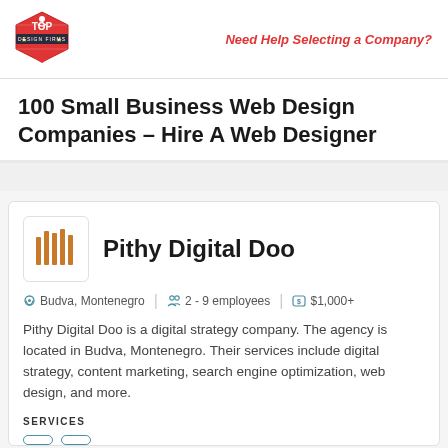Top Design Firms logo | Need Help Selecting a Company?
100 Small Business Web Design Companies – Hire A Web Designer
Pithy Digital Doo
Budva, Montenegro   2 - 9 employees   $1,000+
Pithy Digital Doo is a digital strategy company. The agency is located in Budva, Montenegro. Their services include digital strategy, content marketing, search engine optimization, web design, and more.
SERVICES